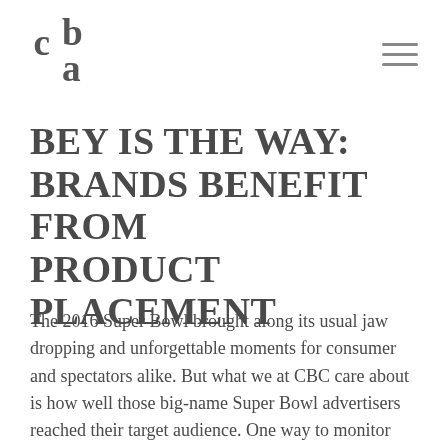CBC logo and navigation menu
BEY IS THE WAY: BRANDS BENEFIT FROM PRODUCT PLACEMENT
The 2016 Super Bowl brought along its usual jaw dropping and unforgettable moments for consumer and spectators alike. But what we at CBC care about is how well those big-name Super Bowl advertisers reached their target audience. One way to monitor how well brands did in their